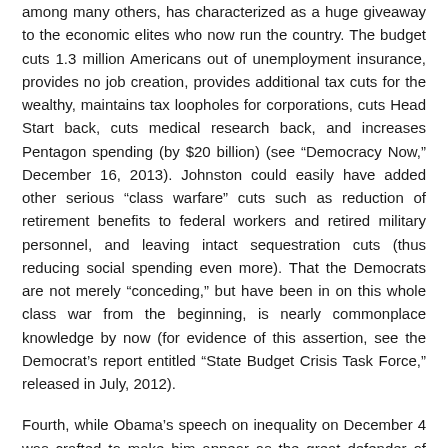among many others, has characterized as a huge giveaway to the economic elites who now run the country. The budget cuts 1.3 million Americans out of unemployment insurance, provides no job creation, provides additional tax cuts for the wealthy, maintains tax loopholes for corporations, cuts Head Start back, cuts medical research back, and increases Pentagon spending (by $20 billion) (see “Democracy Now,” December 16, 2013). Johnston could easily have added other serious “class warfare” cuts such as reduction of retirement benefits to federal workers and retired military personnel, and leaving intact sequestration cuts (thus reducing social spending even more). That the Democrats are not merely “conceding,” but have been in on this whole class war from the beginning, is nearly commonplace knowledge by now (for evidence of this assertion, see the Democrat’s report entitled “State Budget Crisis Task Force,” released in July, 2012).
Fourth, while Obama’s speech on inequality on December 4 was crafted to make him appear as the great defender of equality, in point of fact Obama has done everything in his power to maintain a distinct inequality in society, doing his